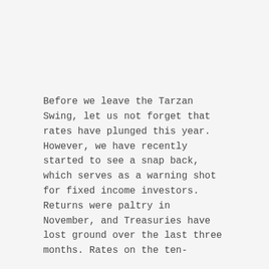Before we leave the Tarzan Swing, let us not forget that rates have plunged this year. However, we have recently started to see a snap back, which serves as a warning shot for fixed income investors. Returns were paltry in November, and Treasuries have lost ground over the last three months. Rates on the ten-